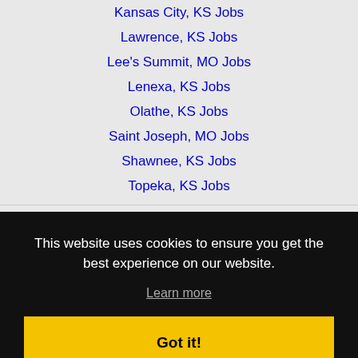Kansas City, KS Jobs
Lawrence, KS Jobs
Lee's Summit, MO Jobs
Lenexa, KS Jobs
Olathe, KS Jobs
Saint Joseph, MO Jobs
Shawnee, KS Jobs
Topeka, KS Jobs
This website uses cookies to ensure you get the best experience on our website.
Learn more
Got it!
[Figure (logo): Authorize.Net logo]